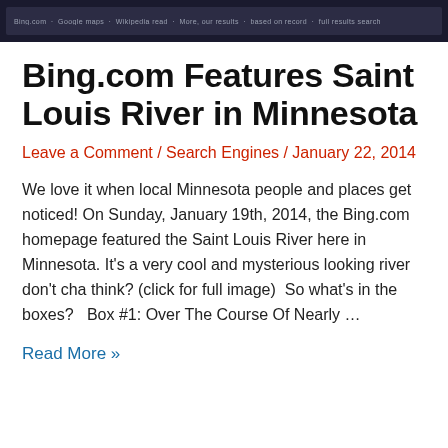[Figure (screenshot): Screenshot of a website browser navigation bar with dark background]
Bing.com Features Saint Louis River in Minnesota
Leave a Comment / Search Engines / January 22, 2014
We love it when local Minnesota people and places get noticed! On Sunday, January 19th, 2014, the Bing.com homepage featured the Saint Louis River here in Minnesota. It’s a very cool and mysterious looking river don’t cha think? (click for full image)  So what’s in the boxes?   Box #1: Over The Course Of Nearly …
Read More »